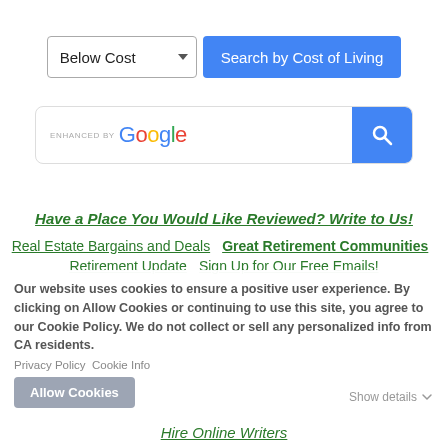[Figure (screenshot): Search interface with dropdown 'Below Cost' and button 'Search by Cost of Living']
[Figure (screenshot): Google enhanced search box with magnifying glass button]
Have a Place You Would Like Reviewed? Write to Us!
Real Estate Bargains and Deals  Great Retirement Communities  Retirement Update  Sign Up for Our Free Emails!
Our website uses cookies to ensure a positive user experience. By clicking on Allow Cookies or continuing to use this site, you agree to our Cookie Policy. We do not collect or sell any personalized info from CA residents.
Privacy Policy   Cookie Info
Allow Cookies
Show details
Hire Online Writers